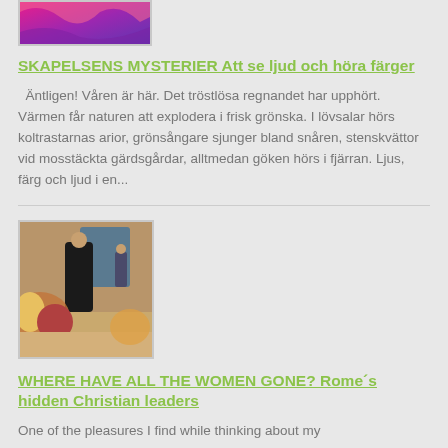[Figure (photo): Colorful abstract pink and purple swirling image, partially cropped at top]
SKAPELSENS MYSTERIER Att se ljud och höra färger
Äntligen! Våren är här. Det tröstlösa regnandet har upphört. Värmen får naturen att explodera i frisk grönska. I lövsalar hörs koltrastarnas arior, grönsångare sjunger bland snåren, stenskvättor vid mosstäckta gärdsgårdar, alltmedan göken hörs i fjärran. Ljus, färg och ljud i en...
[Figure (photo): Renaissance-style painting showing a figure in black robes standing among a group of people in colorful clothing]
WHERE HAVE ALL THE WOMEN GONE? Rome´s hidden Christian leaders
One of the pleasures I find while thinking about my